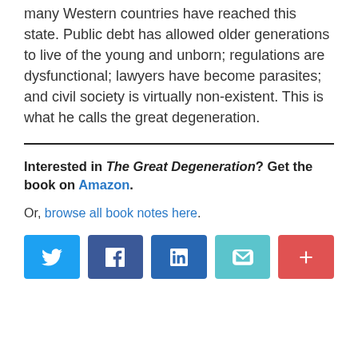many Western countries have reached this state. Public debt has allowed older generations to live of the young and unborn; regulations are dysfunctional; lawyers have become parasites; and civil society is virtually non-existent. This is what he calls the great degeneration.
Interested in The Great Degeneration? Get the book on Amazon.
Or, browse all book notes here.
[Figure (other): Row of five social share buttons: Twitter (blue), Facebook (dark blue), LinkedIn (dark blue), Email (teal), More/Plus (red)]